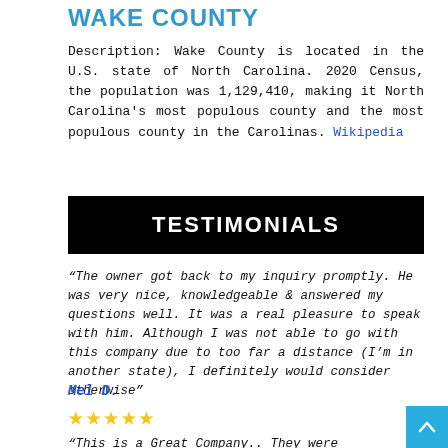WAKE COUNTY
Description: Wake County is located in the U.S. state of North Carolina. 2020 Census, the population was 1,129,410, making it North Carolina's most populous county and the most populous county in the Carolinas. Wikipedia
TESTIMONIALS
“The owner got back to my inquiry promptly. He was very nice, knowledgeable & answered my questions well. It was a real pleasure to speak with him. Although I was not able to go with this company due to too far a distance (I’m in another state), I definitely would consider otherwise”
Mel D.
[Figure (other): Five gold star rating]
“This is a Great Company.. They were